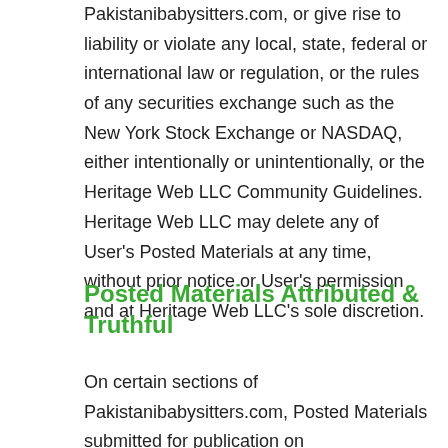Pakistanibabysitters.com, or give rise to liability or violate any local, state, federal or international law or regulation, or the rules of any securities exchange such as the New York Stock Exchange or NASDAQ, either intentionally or unintentionally, or the Heritage Web LLC Community Guidelines. Heritage Web LLC may delete any of User's Posted Materials at any time, without prior notice or User's permission and at Heritage Web LLC's sole discretion.
Posted Materials Attributed & Truthful
On certain sections of Pakistanibabysitters.com, Posted Materials submitted for publication on Pakistanibabysitters.com will be accompanied by User's